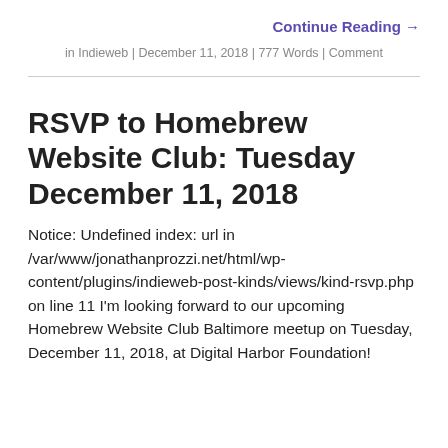Continue Reading →
in Indieweb | December 11, 2018 | 777 Words | Comment
RSVP to Homebrew Website Club: Tuesday December 11, 2018
Notice: Undefined index: url in /var/www/jonathanprozzi.net/html/wp-content/plugins/indieweb-post-kinds/views/kind-rsvp.php on line 11 I'm looking forward to our upcoming Homebrew Website Club Baltimore meetup on Tuesday, December 11, 2018, at Digital Harbor Foundation!